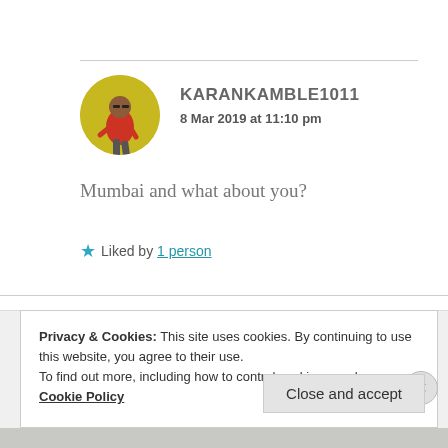[Figure (photo): Circular avatar photo of a person in a red shirt walking against a yellow background]
KARANKAMBLE1011
8 Mar 2019 at 11:10 pm
Mumbai and what about you?
★ Liked by 1 person
Privacy & Cookies: This site uses cookies. By continuing to use this website, you agree to their use.
To find out more, including how to control cookies, see here: Cookie Policy
Close and accept